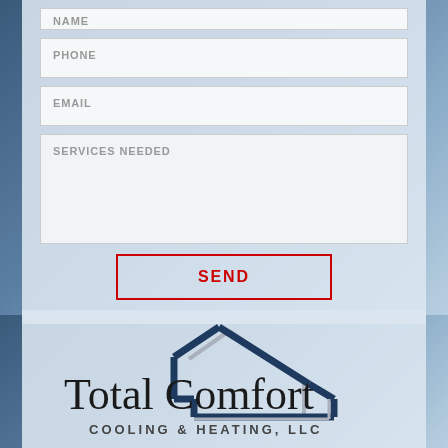NAME
PHONE
EMAIL
SERVICES NEEDED
SEND
[Figure (logo): Total Comfort Cooling & Heating, LLC logo with house/roof icon in navy blue]